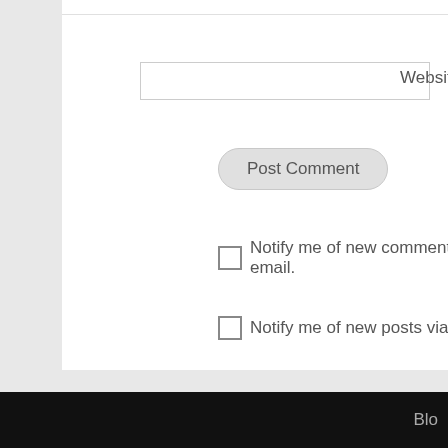[Figure (screenshot): Partial website input field at top of page with border]
Website
[Figure (screenshot): Post Comment button — rounded rectangle gray button]
Notify me of new comments via email.
Notify me of new posts via email.
← Done being busy
Blo